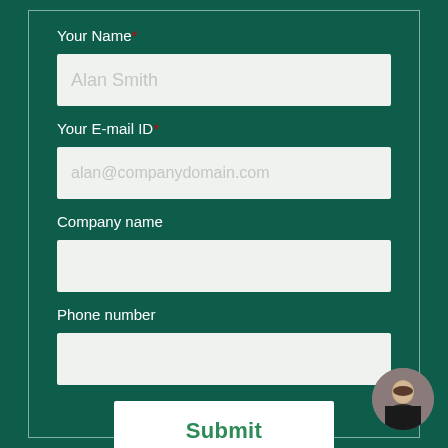Your Name*
[Figure (other): Text input field with placeholder 'Alan Smith']
Your E-mail ID*
[Figure (other): Text input field with placeholder 'alan@companydomain.com']
Company name
[Figure (other): Empty text input field for company name]
Phone number
[Figure (other): Empty text input field for phone number]
[Figure (other): Submit button with green text]
[Figure (photo): Circular avatar photo of a person]